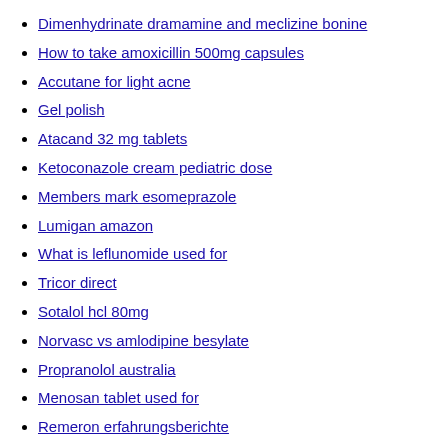Dimenhydrinate dramamine and meclizine bonine
How to take amoxicillin 500mg capsules
Accutane for light acne
Gel polish
Atacand 32 mg tablets
Ketoconazole cream pediatric dose
Members mark esomeprazole
Lumigan amazon
What is leflunomide used for
Tricor direct
Sotalol hcl 80mg
Norvasc vs amlodipine besylate
Propranolol australia
Menosan tablet used for
Remeron erfahrungsberichte